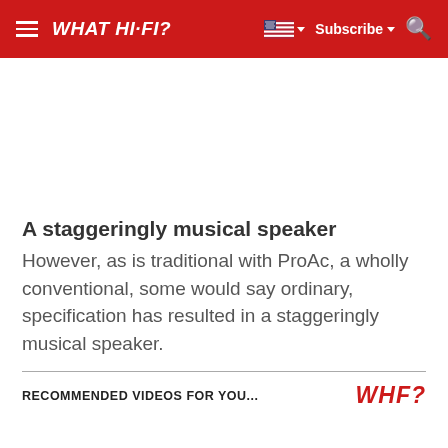WHAT HI-FI?
A staggeringly musical speaker
However, as is traditional with ProAc, a wholly conventional, some would say ordinary, specification has resulted in a staggeringly musical speaker.
RECOMMENDED VIDEOS FOR YOU...